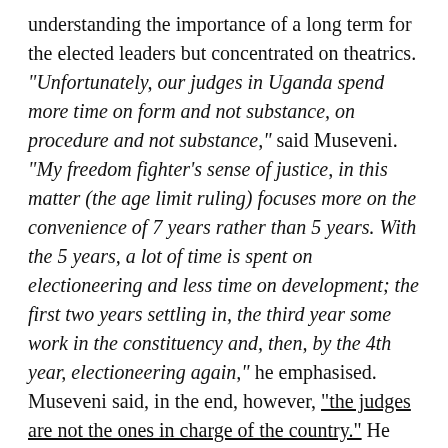understanding the importance of a long term for the elected leaders but concentrated on theatrics. "Unfortunately, our judges in Uganda spend more time on form and not substance, on procedure and not substance," said Museveni. "My freedom fighter's sense of justice, in this matter (the age limit ruling) focuses more on the convenience of 7 years rather than 5 years. With the 5 years, a lot of time is spent on electioneering and less time on development; the first two years settling in, the third year some work in the constituency and, then, by the 4th year, electioneering again," he emphasised. Museveni said, in the end, however, "the judges are not the ones in charge of the country." He stressed that, "If the NRM MPs follow my guidelines and bond closely with the